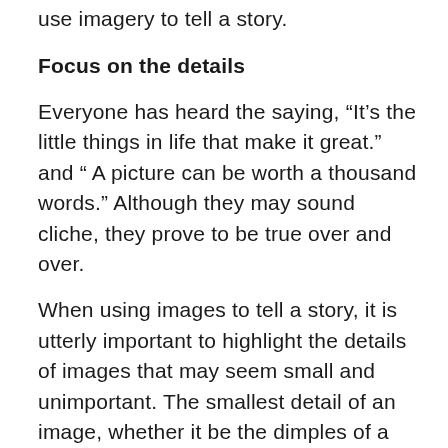use imagery to tell a story.
Focus on the details
Everyone has heard the saying, “It’s the little things in life that make it great.” and “ A picture can be worth a thousand words.” Although they may sound cliche, they prove to be true over and over.
When using images to tell a story, it is utterly important to highlight the details of images that may seem small and unimportant. The smallest detail of an image, whether it be the dimples of a person smiling and laughing or the reflection of a beautiful bird flying above clear